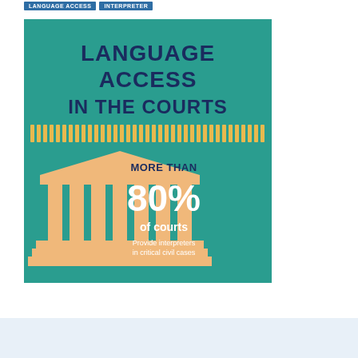LANGUAGE ACCESS | INTERPRETER
[Figure (infographic): Infographic with teal background titled 'LANGUAGE ACCESS IN THE COURTS'. Features yellow vertical bar dividers, a courthouse illustration in orange/tan, and text reading 'MORE THAN 80% of courts Provide interpreters in critical civil cases'.]